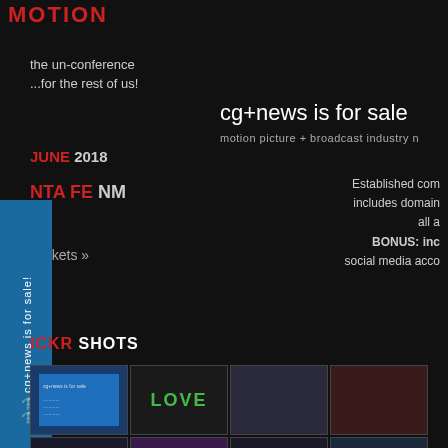MOTION
the un-conference
...for the rest of us!
JUNE 2018
SANTA FE NM
t tickets »
ICKR SHOTS
cg+news is for sale!
motion picture + broadcast industry
Established com...
includes domain
all a...
BONUS: inc...
social media acco...
[Figure (photo): Blue card with text]
[Figure (photo): Dark stage with LOVE text]
[Figure (photo): Two people standing]
[Figure (photo): Reddish object close-up]
[Figure (photo): Group of people photo]
[Figure (photo): Purple fabric/stage]
[Figure (photo): Audience in dark room]
[Figure (photo): Hashtag slide on screen]